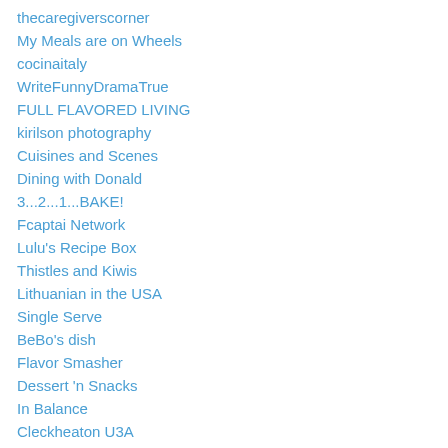thecaregiverscorner
My Meals are on Wheels
cocinaitaly
WriteFunnyDramaTrue
FULL FLAVORED LIVING
kirilson photography
Cuisines and Scenes
Dining with Donald
3...2...1...BAKE!
Fcaptai Network
Lulu's Recipe Box
Thistles and Kiwis
Lithuanian in the USA
Single Serve
BeBo's dish
Flavor Smasher
Dessert 'n Snacks
In Balance
Cleckheaton U3A
Italian Home Kitchen Blog